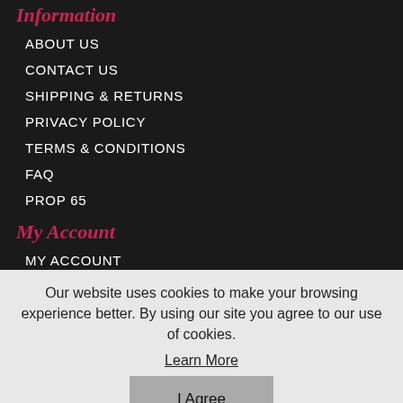Information
ABOUT US
CONTACT US
SHIPPING & RETURNS
PRIVACY POLICY
TERMS & CONDITIONS
FAQ
PROP 65
My Account
MY ACCOUNT
Our website uses cookies to make your browsing experience better. By using our site you agree to our use of cookies.
Learn More
I Agree